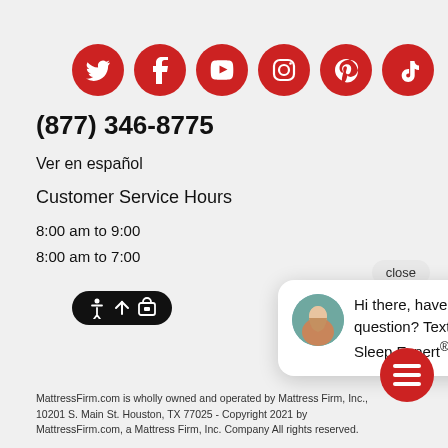[Figure (logo): Six red circular social media icons: Twitter, Facebook, YouTube, Instagram, Pinterest, TikTok]
(877) 346-8775
Ver en español
Customer Service Hours
8:00 am to 9:00
8:00 am to 7:00
[Figure (illustration): Accessibility icons on dark pill-shaped background]
[Figure (illustration): Chat popup with avatar photo of woman and message: Hi there, have a question? Text a local Sleep Expert® here. With close button and red chat button.]
MattressFirm.com is wholly owned and operated by Mattress Firm, Inc., 10201 S. Main St. Houston, TX 77025 - Copyright 2021 by MattressFirm.com, a Mattress Firm, Inc. Company All rights reserved.